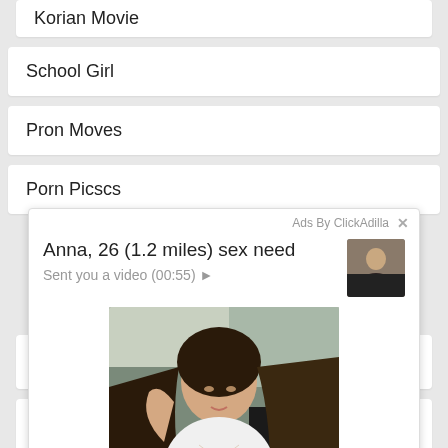Korian Movie
School Girl
Pron Moves
Porn Pics
[Figure (screenshot): Ad overlay from ClickAdilla showing a woman taking a selfie in a car. Ad text reads: 'Anna, 26 (1.2 miles) sex need' and 'Sent you a video (00:55) ▶'. Footer shows '2md'.]